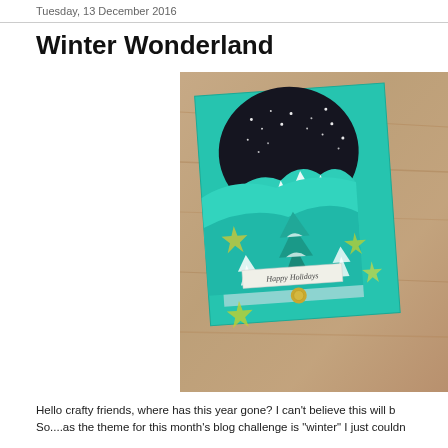Tuesday, 13 December 2016
Winter Wonderland
[Figure (photo): A handmade holiday card with teal/turquoise background featuring a winter scene with snowy trees, stars, a dark night sky with dots (stars), and a 'Happy Holidays' banner ribbon with glitter accents. Displayed on a wooden surface.]
Hello crafty friends, where has this year gone? I can't believe this will b... So....as the theme for this month's blog challenge is "winter" I just couldn...